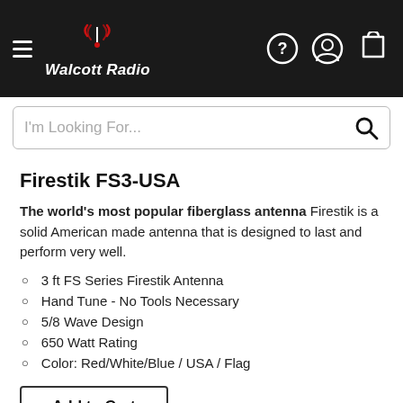Walcott Radio
Firestik FS3-USA
The world's most popular fiberglass antenna Firestik is a solid American made antenna that is designed to last and perform very well.
3 ft FS Series Firestik Antenna
Hand Tune - No Tools Necessary
5/8 Wave Design
650 Watt Rating
Color: Red/White/Blue / USA / Flag
Add to Cart